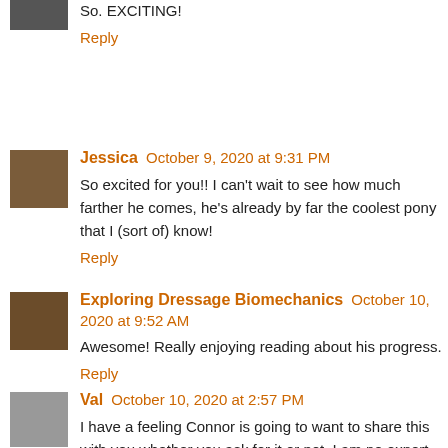So. EXCITING!
Reply
Jessica  October 9, 2020 at 9:31 PM
So excited for you!! I can't wait to see how much farther he comes, he's already by far the coolest pony that I (sort of) know!
Reply
Exploring Dressage Biomechanics  October 10, 2020 at 9:52 AM
Awesome! Really enjoying reading about his progress.
Reply
Val  October 10, 2020 at 2:57 PM
I have a feeling Connor is going to want to share this with you whether you ask for it or not. I am no expert, but when